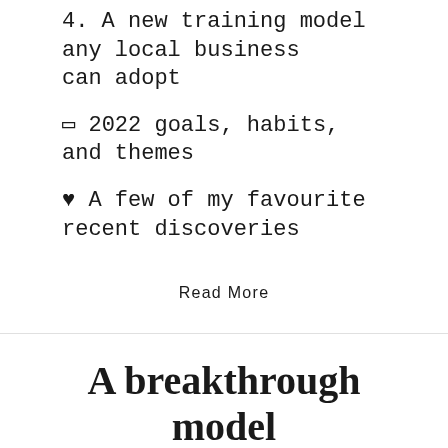4. A new training model any local business can adopt
🗓 2022 goals, habits, and themes
♥ A few of my favourite recent discoveries
Read More
A breakthrough model
NEWSLETTER   January 8, 2022
Hey, Kyle here.